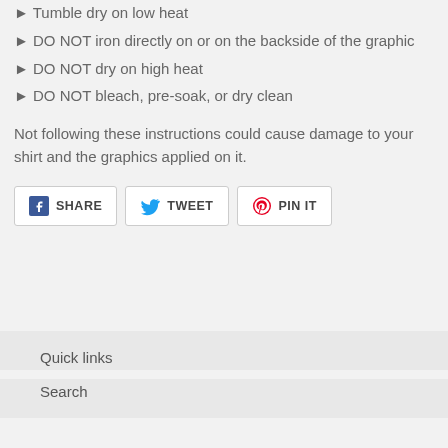► Tumble dry on low heat
► DO NOT iron directly on or on the backside of the graphic
► DO NOT dry on high heat
► DO NOT bleach, pre-soak, or dry clean
Not following these instructions could cause damage to your shirt and the graphics applied on it.
SHARE  TWEET  PIN IT
Quick links
Search